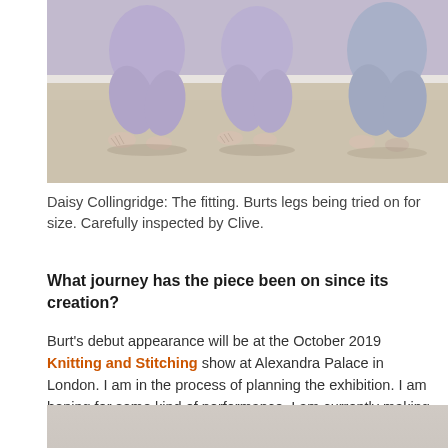[Figure (photo): Photo showing legs of figures in purple/lavender costumes crouching or kneeling on a beige floor, shot from low angle showing only the lower bodies and bare feet.]
Daisy Collingridge: The fitting. Burts legs being tried on for size. Carefully inspected by Clive.
What journey has the piece been on since its creation?
Burt's debut appearance will be at the October 2019 Knitting and Stitching show at Alexandra Palace in London. I am in the process of planning the exhibition. I am hoping for some kind of performance. I am currently making one for my dad, Dave. So, Dave might be wandering around the show.
[Figure (photo): Partial view of another image, showing a grey/beige background — only the top portion visible at the bottom of the page.]